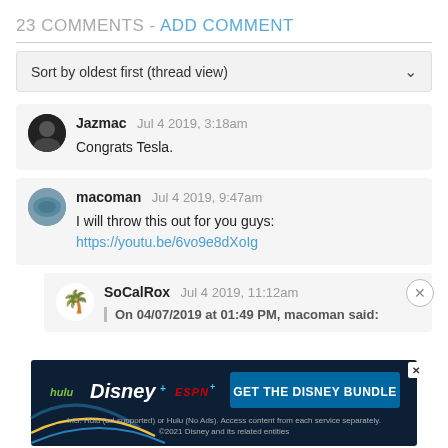23 COMMENTS - ADD COMMENT
Sort by oldest first (thread view)
Jazmac  Jul 4 2019, 3:18am
Congrats Tesla.
macoman  Jul 4 2019, 9:47am
I will throw this out for you guys:
https://youtu.be/6vo9e8dXoIg
SoCalRox  Jul 4 2019, 11:12am
On 04/07/2019 at 01:49 PM, macoman said:
[Figure (screenshot): Disney Bundle advertisement banner with Hulu, Disney+, ESPN+ logos and GET THE DISNEY BUNDLE CTA button]